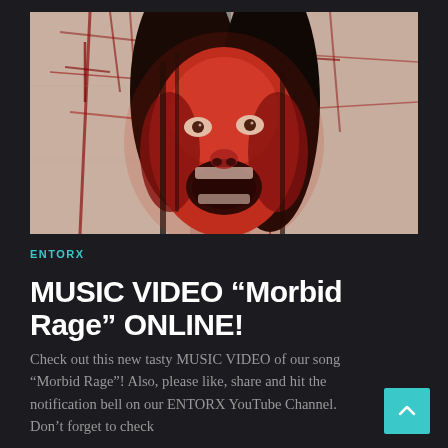[Figure (photo): A person with long dark wet hair screaming with mouth wide open, face illuminated in red light, surrounded by white tiles covered in red-painted or blood-like markings. Music video still from Morbid Rage.]
ENTORX
MUSIC VIDEO “Morbid Rage” ONLINE!
Check out this new tasty MUSIC VIDEO of our song “Morbid Rage”! Also, please like, share and hit the notification bell on our ENTORX YouTube Channel. Don’t forget to check